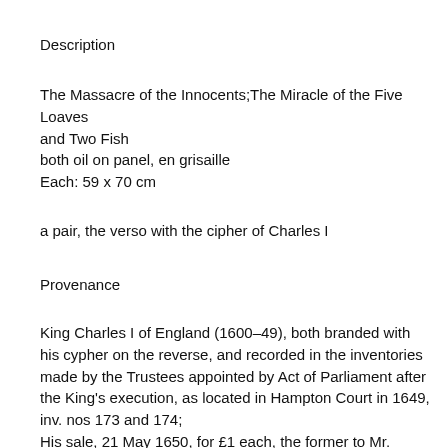Description
The Massacre of the Innocents;The Miracle of the Five Loaves and Two Fish
both oil on panel, en grisaille
Each: 59 x 70 cm
a pair, the verso with the cipher of Charles I
Provenance
King Charles I of England (1600–49), both branded with his cypher on the reverse, and recorded in the inventories made by the Trustees appointed by Act of Parliament after the King's execution, as located in Hampton Court in 1649, inv. nos 173 and 174;
His sale, 21 May 1650, for £1 each, the former to Mr. Wright, the latter to Mr. De Critz;
Probably Archduke Leopold Wilhelm of Austria (1614–62), and